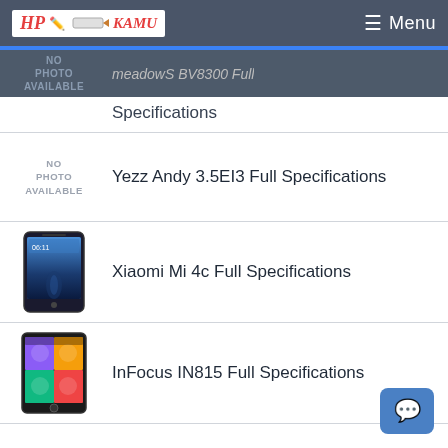HP KAMU — Menu
meadowS BV8300 Full Specifications
Yezz Andy 3.5EI3 Full Specifications
Xiaomi Mi 4c Full Specifications
InFocus IN815 Full Specifications